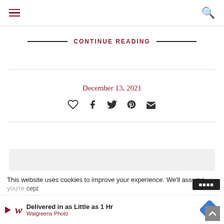Navigation header with hamburger menu and search icon
CONTINUE READING
December 13, 2021
[Figure (infographic): Social sharing icons row: heart/like, Facebook, Twitter, Pinterest, email]
This website uses cookies to improve your experience. We'll assume you're ... cept
[Figure (infographic): Walgreens Photo advertisement: Delivered in as Little as 1 Hr, Walgreens Photo, with logo and direction sign icon]